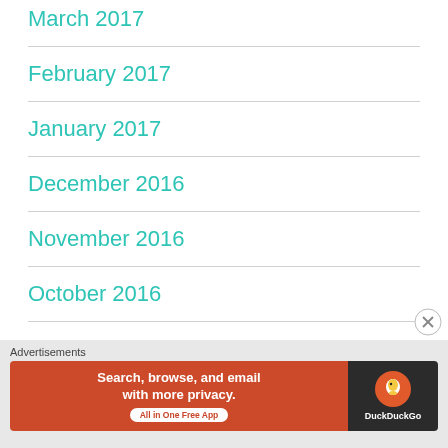March 2017
February 2017
January 2017
December 2016
November 2016
October 2016
August 2016
[Figure (screenshot): DuckDuckGo advertisement banner: 'Search, browse, and email with more privacy. All in One Free App' with DuckDuckGo logo on dark background]